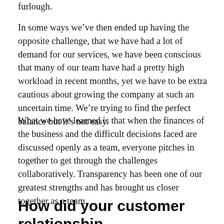furlough.
In some ways we’ve then ended up having the opposite challenge, that we have had a lot of demand for our services, we have been conscious that many of our team have had a pretty high workload in recent months, yet we have to be extra cautious about growing the company at such an uncertain time. We’re trying to find the perfect balance but it’s not easy.
What we have learned is that when the finances of the business and the difficult decisions faced are discussed openly as a team, everyone pitches in together to get through the challenges collaboratively. Transparency has been one of our greatest strengths and has brought us closer together as a team.
How did your customer relationship